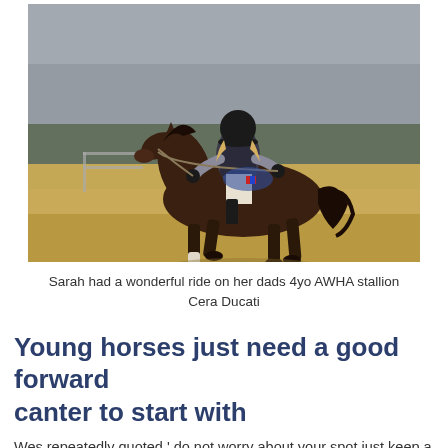[Figure (photo): A rider on a dark bay/chestnut horse trotting on a sandy arena. The rider is wearing a black helmet, grey long-sleeve shirt, and dark vest/body protector. The background shows a grey foggy sky and green field with a metal gate visible.]
Sarah had a wonderful ride on her dads 4yo AWHA stallion Cera Ducati
Young horses just need a good forward canter to start with
Wes repeatedly quoted ' do not worry about your spot just keep a good canter let them look for